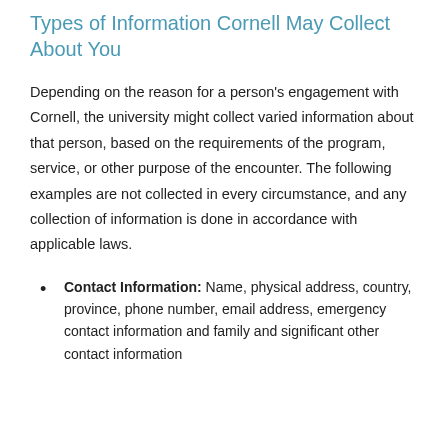Types of Information Cornell May Collect About You
Depending on the reason for a person's engagement with Cornell, the university might collect varied information about that person, based on the requirements of the program, service, or other purpose of the encounter. The following examples are not collected in every circumstance, and any collection of information is done in accordance with applicable laws.
Contact Information: Name, physical address, country, province, phone number, email address, emergency contact information and family and significant other contact information